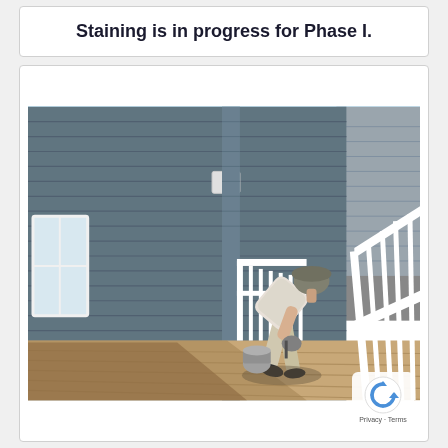Staining is in progress for Phase I.
[Figure (photo): A worker bending over on a deck or porch, staining or painting wooden deck boards. The building has gray horizontal siding, white railings, and white trim. Trees and a parking lot are visible in the background under a clear blue sky. A reCAPTCHA privacy badge is overlaid in the bottom right corner.]